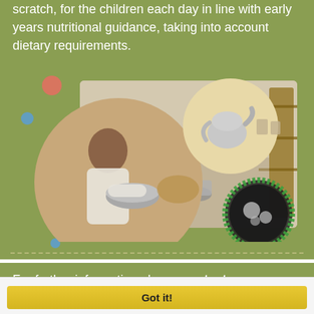scratch, for the children each day in line with early years nutritional guidance, taking into account dietary requirements.
[Figure (photo): Collage of childcare photos: a child exploring metal bowls, a circular closeup of a teapot, and a play kitchen area with metal utensils and containers]
For further information please contact us.
This website uses cookies to ensure you get the best experience on our website More info
Got it!